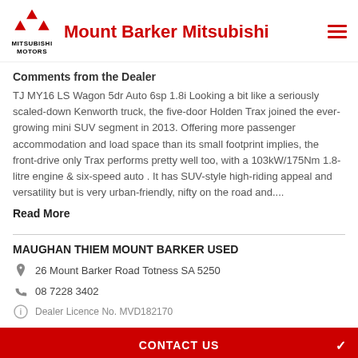[Figure (logo): Mitsubishi Motors logo with three red diamonds and 'MITSUBISHI MOTORS' text, alongside dealership name 'Mount Barker Mitsubishi' in red]
Comments from the Dealer
TJ MY16 LS Wagon 5dr Auto 6sp 1.8i Looking a bit like a seriously scaled-down Kenworth truck, the five-door Holden Trax joined the ever-growing mini SUV segment in 2013. Offering more passenger accommodation and load space than its small footprint implies, the front-drive only Trax performs pretty well too, with a 103kW/175Nm 1.8-litre engine & six-speed auto . It has SUV-style high-riding appeal and versatility but is very urban-friendly, nifty on the road and....
Read More
MAUGHAN THIEM MOUNT BARKER USED
26 Mount Barker Road Totness SA 5250
08 7228 3402
Dealer Licence No. MVD182170
CONTACT US
GET DIRECTIONS
FINANCE THIS VEHICLE